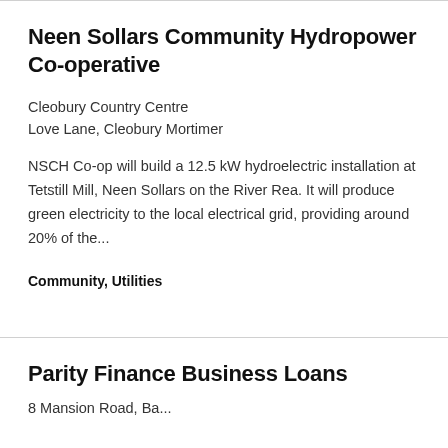Neen Sollars Community Hydropower Co-operative
Cleobury Country Centre
Love Lane, Cleobury Mortimer
NSCH Co-op will build a 12.5 kW hydroelectric installation at Tetstill Mill, Neen Sollars on the River Rea. It will produce green electricity to the local electrical grid, providing around 20% of the...
Community, Utilities
Parity Finance Business Loans
8 Mansion Road, Ba...